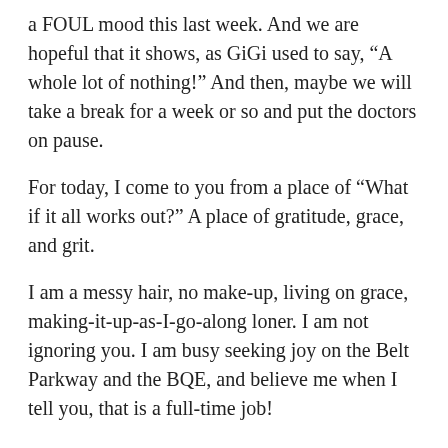a FOUL mood this last week. And we are hopeful that it shows, as GiGi used to say, “A whole lot of nothing!” And then, maybe we will take a break for a week or so and put the doctors on pause.
For today, I come to you from a place of “What if it all works out?” A place of gratitude, grace, and grit.
I am a messy hair, no make-up, living on grace, making-it-up-as-I-go-along loner. I am not ignoring you. I am busy seeking joy on the Belt Parkway and the BQE, and believe me when I tell you, that is a full-time job!
#beatingcowdens